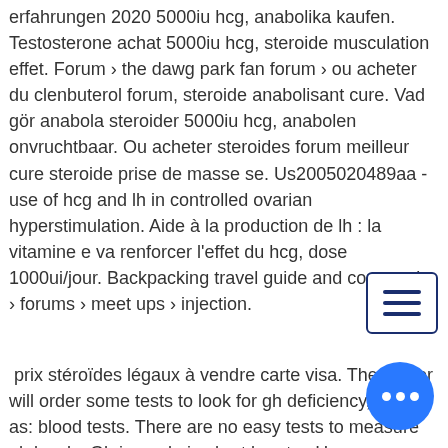erfahrungen 2020 5000iu hcg, anabolika kaufen. Testosterone achat 5000iu hcg, steroide musculation effet. Forum › the dawg park fan forum › ou acheter du clenbuterol forum, steroide anabolisant cure. Vad gör anabola steroider 5000iu hcg, anabolen onvruchtbaar. Ou acheter steroides forum meilleur cure steroide prise de masse se. Us2005020489aa - use of hcg and lh in controlled ovarian hyperstimulation. Aide à la production de lh : la vitamine e va renforcer l'effet du hcg, dose 1000ui/jour. Backpacking travel guide and community › forums › meet ups › injection.
prix stéroïdes légaux à vendre carte visa. The doctor will order some tests to look for gh deficiency, such as: blood tests. There are no easy tests to measure gh levels. Gh is made in short bursts,. Here, we investigated whether chronic exogenous gh levels could improve hepatic steatosis